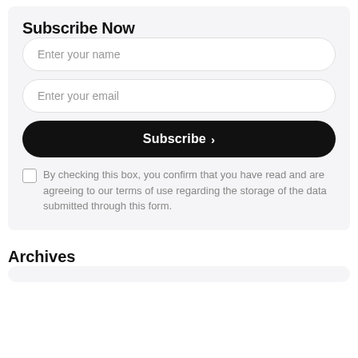Subscribe Now
Enter your name
Enter your email
Subscribe >
By checking this box, you confirm that you have read and are agreeing to our terms of use regarding the storage of the data submitted through this form.
Archives